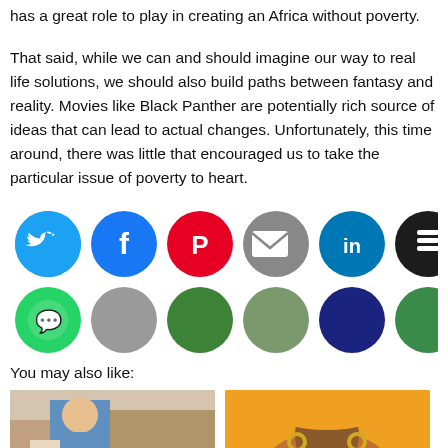has a great role to play in creating an Africa without poverty.
That said, while we can and should imagine our way to real life solutions, we should also build paths between fantasy and reality. Movies like Black Panther are potentially rich source of ideas that can lead to actual changes. Unfortunately, this time around, there was little that encouraged us to take the particular issue of poverty to heart.
[Figure (infographic): Two rows of social media sharing icon circles: Twitter, Facebook, Pinterest, Email, LinkedIn, Buffer, Pocket in the first row; WhatsApp, Reddit, Evernote, Print, Copy Link, StyleShare in the second row.]
You may also like:
[Figure (photo): Photo of a young child in a blue outfit sitting at a table, with brick wall and decorations in background.]
[Figure (illustration): Illustrated portrait of a Black woman in an orange/yellow hat with hoop earrings on an orange background.]